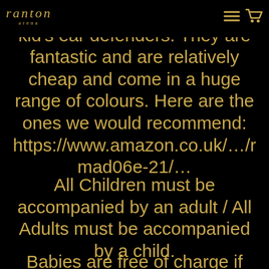Ranton arena — logo and navigation icons
would suggest bringing a pair of kid's ear defenders. They are fantastic and are relatively cheap and come in a huge range of colours. Here are the ones we would recommend: https://www.amazon.co.uk/…/ref=mad06e-21/…
All Children must be accompanied by an adult / All Adults must be accompanied by a child.
Babies are free of charge if